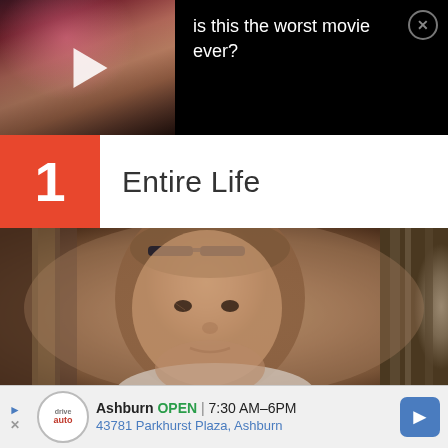[Figure (screenshot): Video thumbnail showing a person with pink hair on dark background, with play button overlay and black area to the right with text]
is this the worst movie ever?
1
Entire Life
[Figure (photo): Portrait photo of a middle-aged man with sunglasses on his head, wearing a white shirt, outdoors with blurred tree trunks in background]
Ashburn OPEN | 7:30 AM–6PM 43781 Parkhurst Plaza, Ashburn